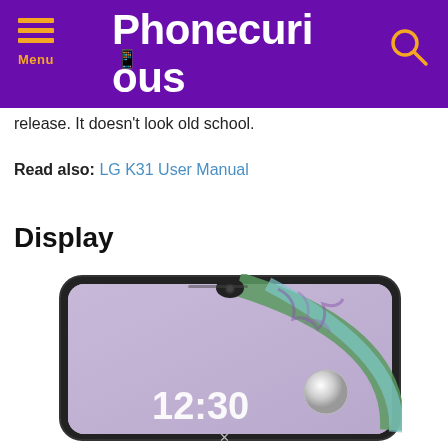Phonecurious
release. It doesn't look old school.
Read also: LG K31 User Manual
Display
[Figure (photo): LG smartphone displaying 12:30 on its screen with a purple and green wallpaper, shown from the front with a waterdrop notch at the top.]